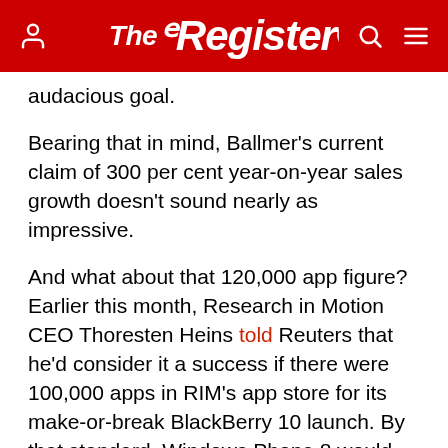The Register
audacious goal.
Bearing that in mind, Ballmer's current claim of 300 per cent year-on-year sales growth doesn't sound nearly as impressive.
And what about that 120,000 app figure? Earlier this month, Research in Motion CEO Thoresten Heins told Reuters that he'd consider it a success if there were 100,000 apps in RIM's app store for its make-or-break BlackBerry 10 launch. By that standard, Windows Phone 8 would seem to be in fine shape.